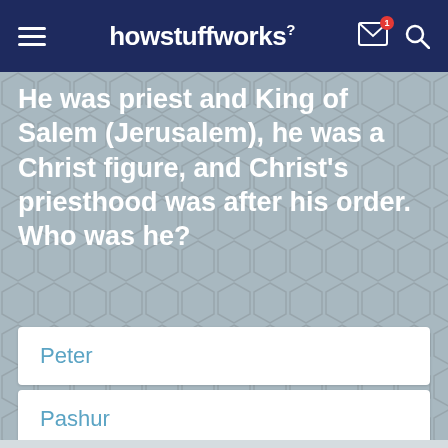howstuffworks
He was priest and King of Salem (Jerusalem), he was a Christ figure, and Christ's priesthood was after his order. Who was he?
Peter
Pashur
Melchizedek